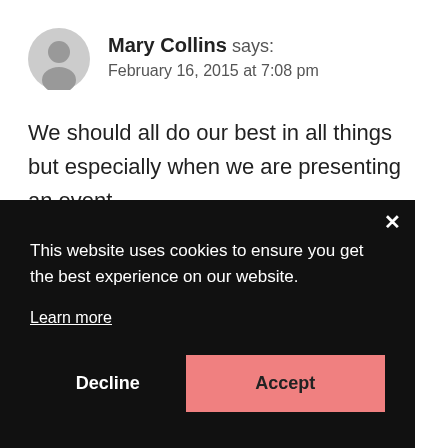Mary Collins says: February 16, 2015 at 7:08 pm
We should all do our best in all things but especially when we are presenting an event
This website uses cookies to ensure you get the best experience on our website.

Learn more

Decline    Accept